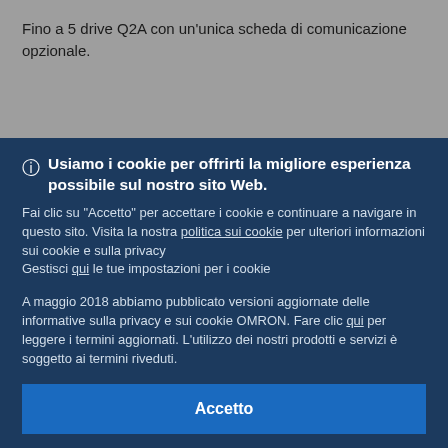Fino a 5 drive Q2A con un'unica scheda di comunicazione opzionale.
Usiamo i cookie per offrirti la migliore esperienza possibile sul nostro sito Web.
Fai clic su "Accetto" per accettare i cookie e continuare a navigare in questo sito. Visita la nostra politica sui cookie per ulteriori informazioni sui cookie e sulla privacy
Gestisci qui le tue impostazioni per i cookie
A maggio 2018 abbiamo pubblicato versioni aggiornate delle informative sulla privacy e sui cookie OMRON. Fare clic qui per leggere i termini aggiornati. L'utilizzo dei nostri prodotti e servizi è soggetto ai termini riveduti.
Accetto